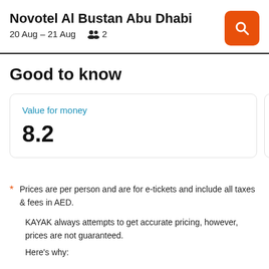Novotel Al Bustan Abu Dhabi
20 Aug – 21 Aug   2
Good to know
Value for money
8.2
Distan
6.2
* Prices are per person and are for e-tickets and include all taxes & fees in AED.

KAYAK always attempts to get accurate pricing, however, prices are not guaranteed.

Here's why: